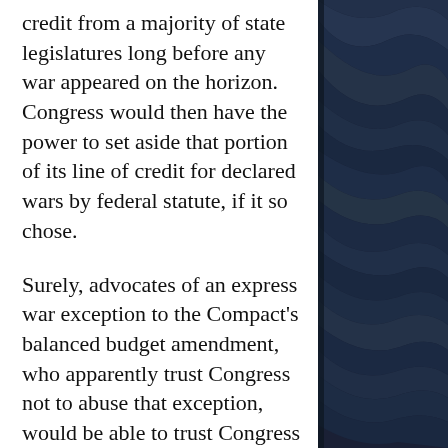credit from a majority of state legislatures long before any war appeared on the horizon. Congress would then have the power to set aside that portion of its line of credit for declared wars by federal statute, if it so chose.
Surely, advocates of an express war exception to the Compact's balanced budget amendment, who apparently trust Congress not to abuse that exception, would be able to trust Congress with setting aside a portion of its authorized line of credit for military spending by statute. And if not, why would they trust Congress with an express war exception? Wouldn't a
[Figure (photo): Dark navy blue background with abstract wave or flag-like shapes creating a textured visual element on the right side of the page.]